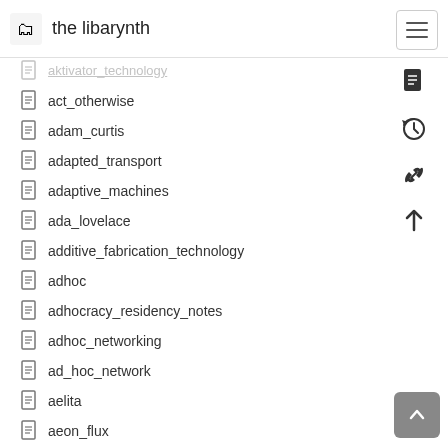the libarynth
act_otherwise
adam_curtis
adapted_transport
adaptive_machines
ada_lovelace
additive_fabrication_technology
adhoc
adhocracy_residency_notes
adhoc_networking
ad_hoc_network
aelita
aeon_flux
aesthetic_sense
affectionate_machine_tickling_aphid
affective_state
after_effects
against_method
against_the_day